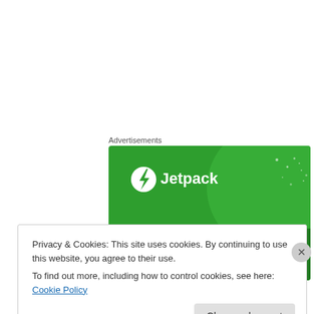Advertisements
[Figure (illustration): Jetpack advertisement banner with green background, Jetpack logo (circle with lightning bolt), and text 'The best real-time WordPress backup' on dark green background with decorative circles and dots]
...
Privacy & Cookies: This site uses cookies. By continuing to use this website, you agree to their use.
To find out more, including how to control cookies, see here: Cookie Policy
Close and accept